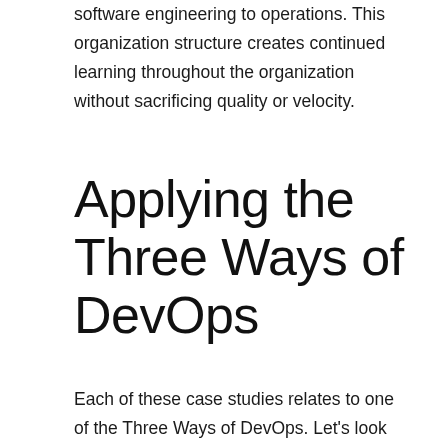software engineering to operations. This organization structure creates continued learning throughout the organization without sacrificing quality or velocity.
Applying the Three Ways of DevOps
Each of these case studies relates to one of the Three Ways of DevOps. Let's look how each one fits into the wider DevOps philosophy, use cases for technical practices, and other business motivations.
Gary Gruver's work at HP demonstrates the use case for the two practices that underpin continuous delivery: trunk-based development and automated testing. These two practices target two important metrics: lead time and deployment frequency. The business case was clear. Replacing the complete reintegration of components and